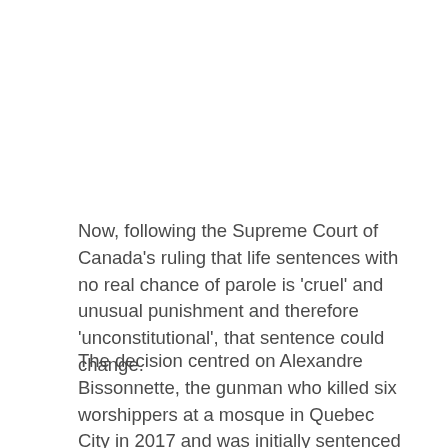Now, following the Supreme Court of Canada's ruling that life sentences with no real chance of parole is 'cruel' and unusual punishment and therefore 'unconstitutional', that sentence could change.
The decision centred on Alexandre Bissonnette, the gunman who killed six worshippers at a mosque in Quebec City in 2017 and was initially sentenced to life in prison with no parole for 40 years.